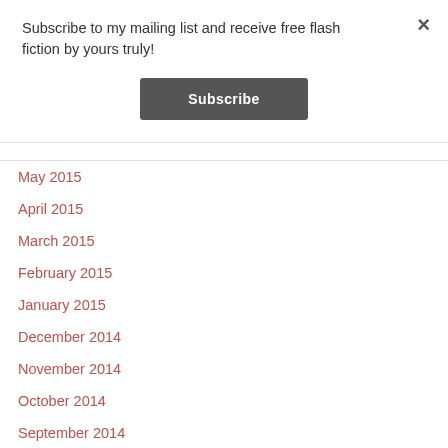Subscribe to my mailing list and receive free flash fiction by yours truly!
Subscribe
×
May 2015
April 2015
March 2015
February 2015
January 2015
December 2014
November 2014
October 2014
September 2014
August 2014
July 2014
June 2014